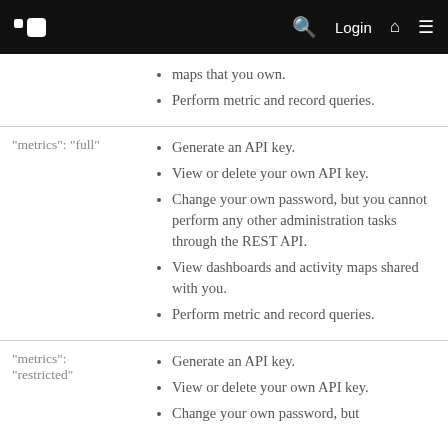Login
maps that you own.
Perform metric and record queries.
| Key | Permissions |
| --- | --- |
| "metrics": "full" | Generate an API key. | View or delete your own API key. | Change your own password, but you cannot perform any other administration tasks through the REST API. | View dashboards and activity maps shared with you. | Perform metric and record queries. |
| "metrics": "restricted" | Generate an API key. | View or delete your own API key. | Change your own password, but |